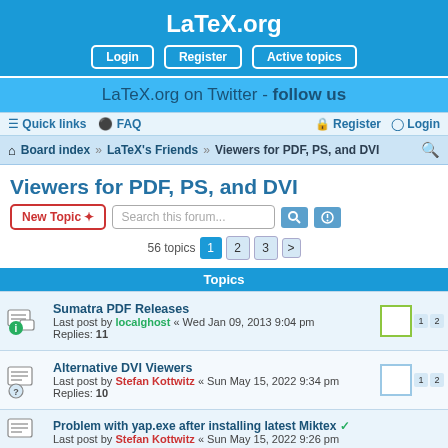LaTeX.org
LaTeX.org on Twitter - follow us
Quick links  FAQ  Register  Login
Board index  LaTeX's Friends  Viewers for PDF, PS, and DVI
Viewers for PDF, PS, and DVI
New Topic  Search this forum...  56 topics  1 2 3 >
Topics
Sumatra PDF Releases
Last post by localghost « Wed Jan 09, 2013 9:04 pm
Replies: 11
Alternative DVI Viewers
Last post by Stefan Kottwitz « Sun May 15, 2022 9:34 pm
Replies: 10
Problem with yap.exe after installing latest Miktex ✓
Last post by Stefan Kottwitz « Sun May 15, 2022 9:26 pm